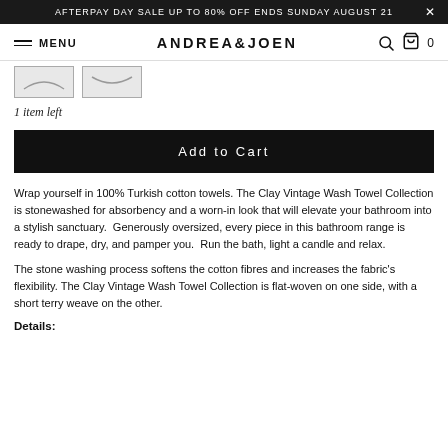AFTERPAY DAY SALE UP TO 80% OFF ENDS SUNDAY AUGUST 21
MENU   ANDREA&JOEN   [search] [cart] 0
[Figure (photo): Two small product thumbnail images of folded towels]
1 item left
Add to Cart
Wrap yourself in 100% Turkish cotton towels. The Clay Vintage Wash Towel Collection is stonewashed for absorbency and a worn-in look that will elevate your bathroom into a stylish sanctuary. Generously oversized, every piece in this bathroom range is ready to drape, dry, and pamper you. Run the bath, light a candle and relax.
The stone washing process softens the cotton fibres and increases the fabric's flexibility. The Clay Vintage Wash Towel Collection is flat-woven on one side, with a short terry weave on the other.
Details: